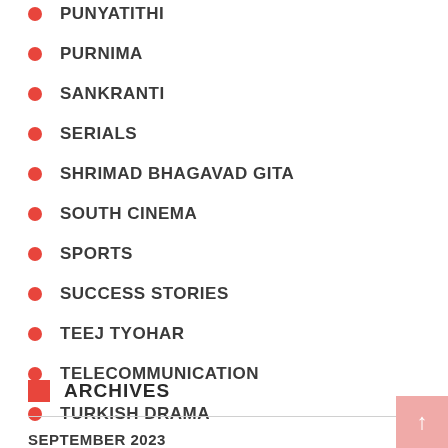PUNYATITHI
PURNIMA
SANKRANTI
SERIALS
SHRIMAD BHAGAVAD GITA
SOUTH CINEMA
SPORTS
SUCCESS STORIES
TEEJ TYOHAR
TELECOMMUNICATION
TURKISH DRAMA
ARCHIVES
SEPTEMBER 2023